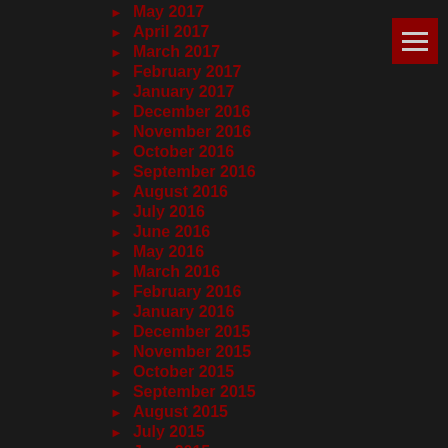May 2017
April 2017
March 2017
February 2017
January 2017
December 2016
November 2016
October 2016
September 2016
August 2016
July 2016
June 2016
May 2016
March 2016
February 2016
January 2016
December 2015
November 2015
October 2015
September 2015
August 2015
July 2015
June 2015